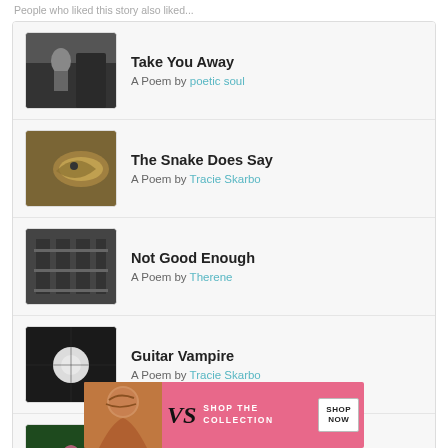People who liked this story also liked...
Take You Away — A Poem by poetic soul
The Snake Does Say — A Poem by Tracie Skarbo
Not Good Enough — A Poem by Therene
Guitar Vampire — A Poem by Tracie Skarbo
Entranced By Your Song — A Poem by Bud
[Figure (photo): Advertisement banner: Victoria's Secret - Shop the Collection, Shop Now button, featuring a woman with curly hair on a pink background]